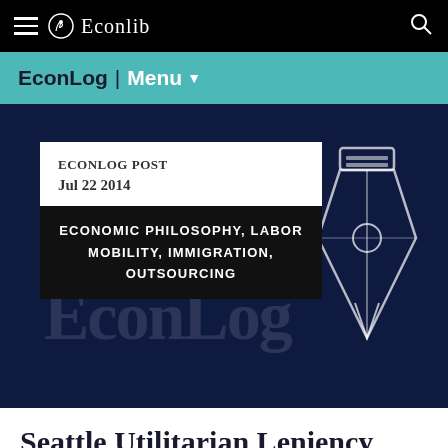Econlib
EconLog | Menu
[Figure (screenshot): EconLog blog post hero section with dark navy background, showing a white card with 'ECONLOG POST Jul 22 2014', a black tag section with 'ECONOMIC PHILOSOPHY, LABOR MOBILITY, IMMIGRATION, OUTSOURCING', an EconLog watermark text, and a pen/nib icon illustration on the right.]
Seattle Utilitarian Leniency